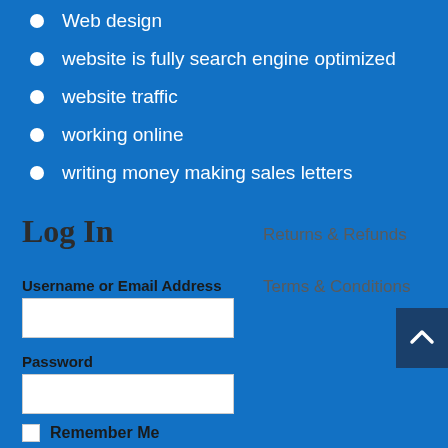Web design
website is fully search engine optimized
website traffic
working online
writing money making sales letters
Log In
Returns & Refunds
Username or Email Address
Terms & Conditions
Password
Remember Me